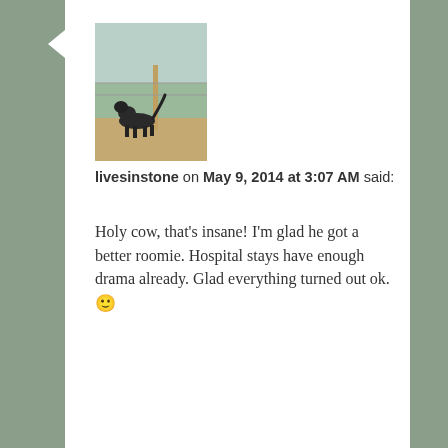[Figure (photo): Small square photo thumbnail showing a dark animal (wolf or dog) standing near a fence post in an outdoor scrubland/field setting.]
livesinstone on May 9, 2014 at 3:07 AM said:
Holy cow, that's insane! I'm glad he got a better roomie. Hospital stays have enough drama already. Glad everything turned out ok. 🙂
★ Like
Reply ↓
Advertisements